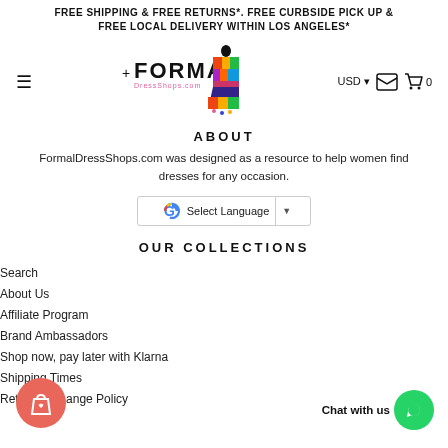FREE SHIPPING & FREE RETURNS*. FREE CURBSIDE PICK UP & FREE LOCAL DELIVERY WITHIN LOS ANGELES*
[Figure (logo): FormalDressShops.com logo with silhouette of woman in colorful dress]
ABOUT
FormalDressShops.com was designed as a resource to help women find dresses for any occasion.
[Figure (screenshot): Google Translate Select Language widget with dropdown arrow]
OUR COLLECTIONS
Search
About Us
Affiliate Program
Brand Ambassadors
Shop now, pay later with Klarna
Shipping Times
Return/Exchange Policy
[Figure (illustration): Red wishlist/shopping bag icon button on bottom left]
[Figure (illustration): Chat with us text and green WhatsApp button on bottom right]